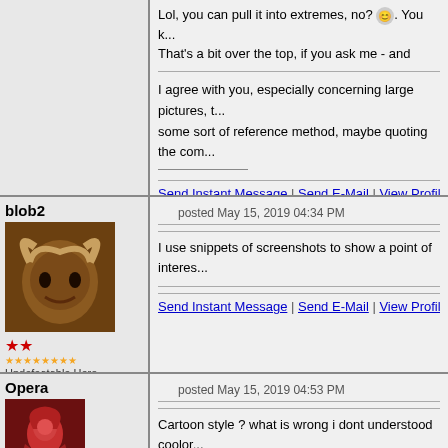Lol, you can pull it into extremes, no? . You k... That's a bit over the top, if you ask me - and ma...
I agree with you, especially concerning large pictures, t... some sort of reference method, maybe quoting the com...
Send Instant Message | Send E-Mail | View Profile | Quote R...
blob2
posted May 15, 2019 04:34 PM
[Figure (photo): Avatar of blob2 - demonic ram creature with horns]
Undefeatable Hero
Blob-Ohmos the Second
I use snippets of screenshots to show a point of interes...
Send Instant Message | Send E-Mail | View Profile | Quote R...
Opera
posted May 15, 2019 04:53 PM
[Figure (photo): Avatar of Opera - character in red costume]
Cartoon style ? what is wrong i dont understood coolor... change her. Flamethrower girl rules !
Send Instant Message | Send E-Mail | View Profile | Quote...
Adventuring Hero